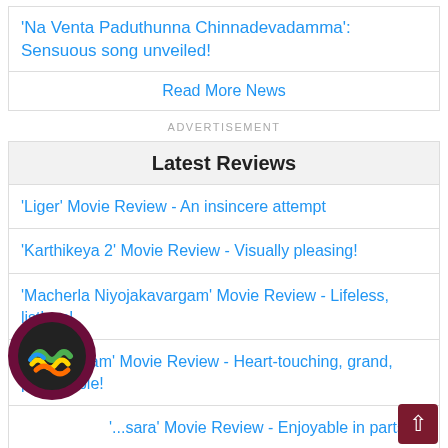'Na Venta Paduthunna Chinnadevadamma': Sensuous song unveiled!
Read More News
ADVERTISEMENT
Latest Reviews
'Liger' Movie Review - An insincere attempt
'Karthikeya 2' Movie Review - Visually pleasing!
'Macherla Niyojakavargam' Movie Review - Lifeless, listless!
'Sita Ramam' Movie Review - Heart-touching, grand, predictable!
'...sara' Movie Review - Enjoyable in parts
Read More Reviews
[Figure (logo): Circular emoji badge with colorful worm/snake game icons on dark background with maroon border]
[Figure (other): Back to top arrow button, dark red square with upward arrow]